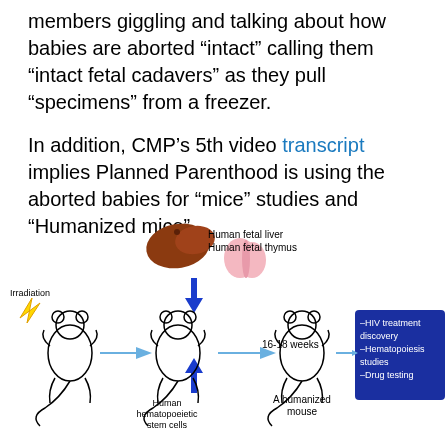members giggling and talking about how babies are aborted “intact” calling them “intact fetal cadavers” as they pull “specimens” from a freezer.
In addition, CMP’s 5th video transcript implies Planned Parenthood is using the aborted babies for “mice” studies and “Humanized mice”.
[Figure (infographic): Diagram showing the process of creating humanized mice. A mouse is irradiated (yellow lightning bolt), then human fetal liver and human fetal thymus tissue along with human hematopoietic stem cells are implanted. After 16-18 weeks, a humanized mouse results, used for HIV treatment discovery, Hematopoiesis studies, and Drug testing.]